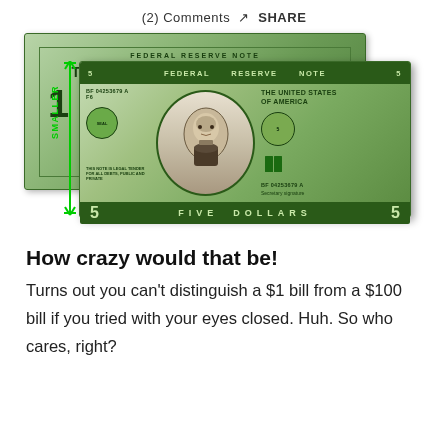(2) Comments  SHARE
[Figure (illustration): A $1 bill partially behind a $5 bill, with a green 'SMALLER' annotation with arrows on the left side indicating the $5 bill is smaller than the $1 bill. The $5 bill shows Lincoln's portrait, serial number BF 04253679 A F6, and reads 'THE UNITED STATES OF AMERICA', 'FIVE DOLLARS', 'FEDERAL RESERVE NOTE'.]
How crazy would that be!
Turns out you can't distinguish a $1 bill from a $100 bill if you tried with your eyes closed. Huh. So who cares, right?